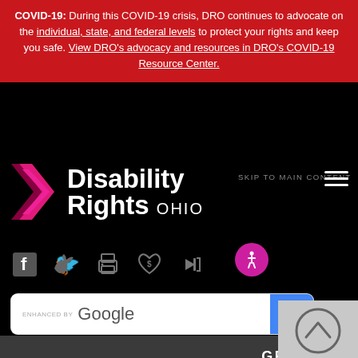COVID-19: During this COVID-19 crisis, DRO continues to advocate on the individual, state, and federal levels to protect your rights and keep you safe. View DRO's advocacy and resources in DRO's COVID-19 Resource Center.
[Figure (logo): Disability Rights Ohio logo with pink/magenta chevron arrow and white text reading 'Disability Rights OHIO']
SKIP TO MAIN CONTENT
[Figure (infographic): Social media icons: Facebook, Twitter, Print, Donate (heart with dollar sign), Login arrow. Also accessibility (wheelchair) button in magenta circle.]
[Figure (screenshot): Search box with 'ENHANCED BY Google' label and blue search button with magnifying glass icon]
GET HELP NOW >
COVID-19 RESOURCES >
Back to top